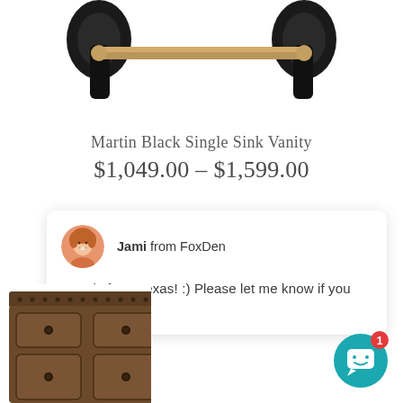[Figure (photo): Top portion of a black metal vanity towel bar/rack with ornate black end brackets and a gold/bronze horizontal bar, cropped at top of page]
Martin Black Single Sink Vanity
$1,049.00 – $1,599.00
[Figure (screenshot): Live chat widget card showing avatar photo of Jami (a woman with short hair), name 'Jami from FoxDen', and message 'Howdy from Texas! :)  Please let me know if you have any...']
[Figure (photo): Bottom portion of a rustic dark wood dresser/vanity with multiple drawers featuring round knob hardware, with decorative nail head trim along top edge]
[Figure (other): Teal circular chat button with white chat bubble icon and red notification badge showing '1']